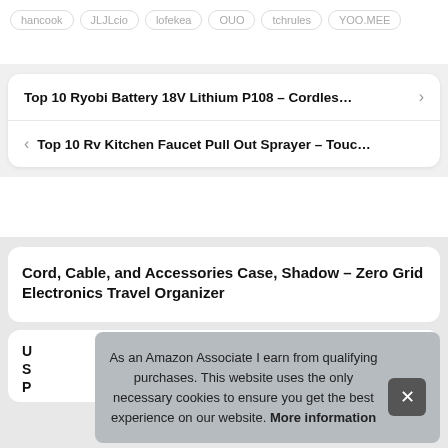hancook  JLJLcio  lofekea  OUO  tchrules  YOO.MEE
Top 10 Ryobi Battery 18V Lithium P108 – Cordles…
Top 10 Rv Kitchen Faucet Pull Out Sprayer – Touc…
Cord, Cable, and Accessories Case, Shadow – Zero Grid Electronics Travel Organizer
As an Amazon Associate I earn from qualifying purchases. This website uses the only necessary cookies to ensure you get the best experience on our website. More information
U... S... P...